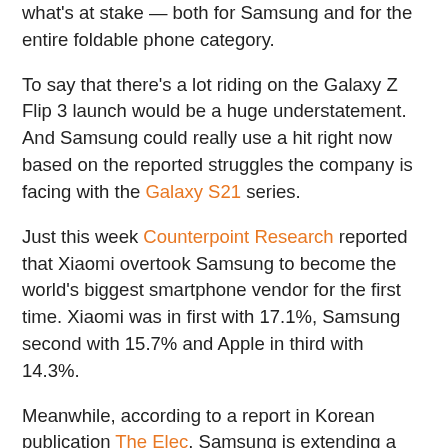what's at stake — both for Samsung and for the entire foldable phone category.
To say that there's a lot riding on the Galaxy Z Flip 3 launch would be a huge understatement. And Samsung could really use a hit right now based on the reported struggles the company is facing with the Galaxy S21 series.
Just this week Counterpoint Research reported that Xiaomi overtook Samsung to become the world's biggest smartphone vendor for the first time. Xiaomi was in first with 17.1%, Samsung second with 15.7% and Apple in third with 14.3%.
Meanwhile, according to a report in Korean publication The Elec, Samsung is extending a management review of its mobile business in